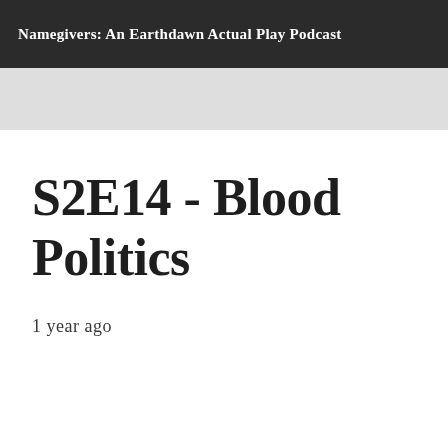Namegivers: An Earthdawn Actual Play Podcast
S2E14 - Blood Politics
1 year ago